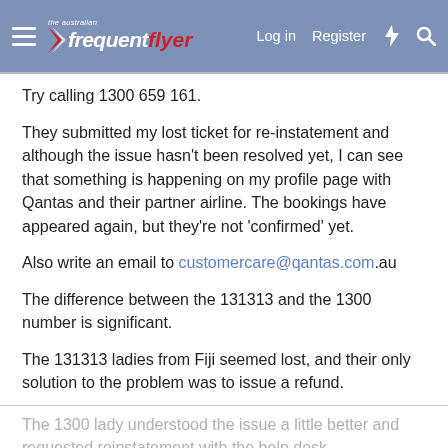The Australian Frequent Flyer — Log in  Register
Try calling 1300 659 161.
They submitted my lost ticket for re-instatement and although the issue hasn't been resolved yet, I can see that something is happening on my profile page with Qantas and their partner airline. The bookings have appeared again, but they're not 'confirmed' yet.
Also write an email to customercare@qantas.com.au
The difference between the 131313 and the 1300 number is significant.
The 131313 ladies from Fiji seemed lost, and their only solution to the problem was to issue a refund.
The 1300 lady understood the issue a little better and requested reinstatement with the help desk.